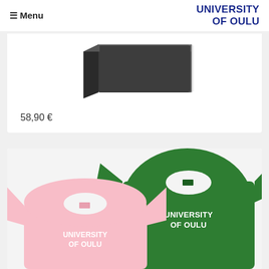≡ Menu | UNIVERSITY OF OULU
[Figure (photo): Dark grey/black hardcover book shown at an angle, partially cropped at top]
58,90 €
[Figure (photo): Two University of Oulu t-shirts: a pink one in the foreground and a green one in the background, both with 'UNIVERSITY OF OULU' printed in white bold text on the chest]